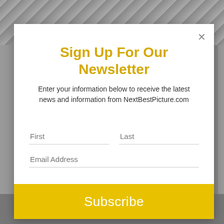[Figure (screenshot): Modal popup overlay on a grey background showing a newsletter signup form for NextBestPicture.com]
Sign Up For Our Newsletter
Enter your information below to receive the latest news and information from NextBestPicture.com